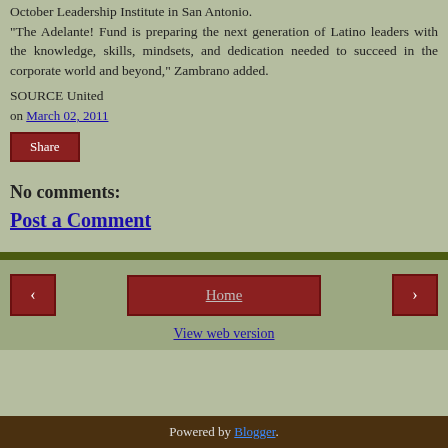October Leadership Institute in San Antonio. "The Adelante! Fund is preparing the next generation of Latino leaders with the knowledge, skills, mindsets, and dedication needed to succeed in the corporate world and beyond," Zambrano added.
SOURCE United
on March 02, 2011
Share
No comments:
Post a Comment
Home | View web version | Powered by Blogger.